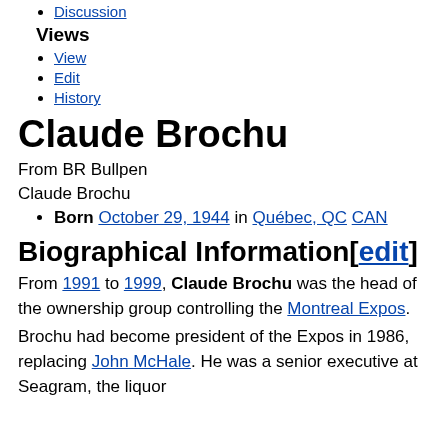Discussion
Views
View
Edit
History
Claude Brochu
From BR Bullpen
Claude Brochu
Born October 29, 1944 in Québec, QC CAN
Biographical Information[edit]
From 1991 to 1999, Claude Brochu was the head of the ownership group controlling the Montreal Expos.
Brochu had become president of the Expos in 1986, replacing John McHale. He was a senior executive at Seagram, the liquor